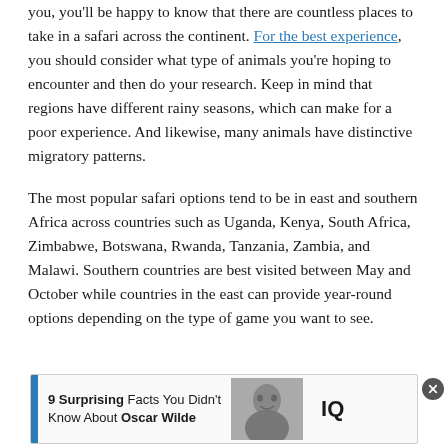you, you'll be happy to know that there are countless places to take in a safari across the continent. For the best experience, you should consider what type of animals you're hoping to encounter and then do your research. Keep in mind that regions have different rainy seasons, which can make for a poor experience. And likewise, many animals have distinctive migratory patterns.
The most popular safari options tend to be in east and southern Africa across countries such as Uganda, Kenya, South Africa, Zimbabwe, Botswana, Rwanda, Tanzania, Zambia, and Malawi. Southern countries are best visited between May and October while countries in the east can provide year-round options depending on the type of game you want to see.
[Figure (screenshot): Advertisement banner: '9 Surprising Facts You Didn't Know About Oscar Wilde' with a face image and IQ logo]